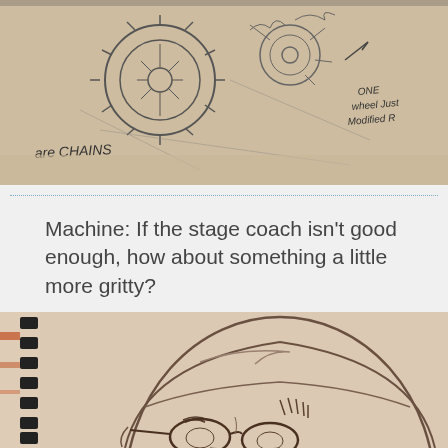[Figure (illustration): Pencil sketch on beige paper showing a mechanical wheel/gear assembly with handwritten notes 'are CHAINS' and 'ONE WHEEL JUST MODIFIED R' with a small arrow]
Machine: If the stage coach isn't good enough, how about something a little more gritty?
[Figure (illustration): Pencil sketch on beige paper of a bald human head/face with glasses, drawn in a sketchbook with spiral binding visible on the left side]